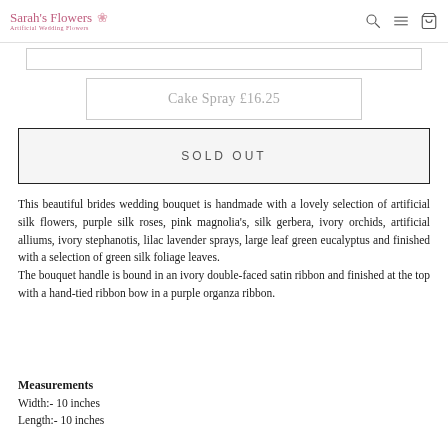Sarah's Flowers - Artificial Wedding Flowers
Cake Spray £16.25
SOLD OUT
This beautiful brides wedding bouquet is handmade with a lovely selection of artificial silk flowers, purple silk roses, pink magnolia's, silk gerbera, ivory orchids, artificial alliums, ivory stephanotis, lilac lavender sprays, large leaf green eucalyptus and finished with a selection of green silk foliage leaves. The bouquet handle is bound in an ivory double-faced satin ribbon and finished at the top with a hand-tied ribbon bow in a purple organza ribbon.
Measurements
Width:- 10 inches
Length:- 10 inches